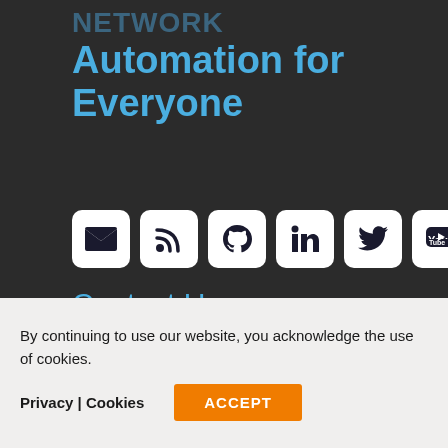Network Automation for Everyone
[Figure (infographic): Row of 6 social media icon buttons on white rounded squares: email/envelope, RSS feed, GitHub, LinkedIn, Twitter, YouTube]
Contact Us
(844) NET-AUTO
By continuing to use our website, you acknowledge the use of cookies.
Privacy | Cookies   ACCEPT